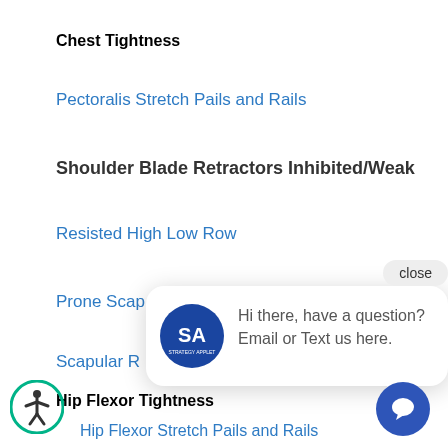Chest Tightness
Pectoralis Stretch Pails and Rails
Shoulder Blade Retractors Inhibited/Weak
Resisted High Low Row
Prone Scap…
Scapular R…
Hip Flexor Tightness
Hip Flexor Stretch Pails and Rails
[Figure (screenshot): Chat popup with SA logo saying 'Hi there, have a question? Email or Text us here.' with a close button and chat icon button at bottom right, plus accessibility icon at bottom left.]